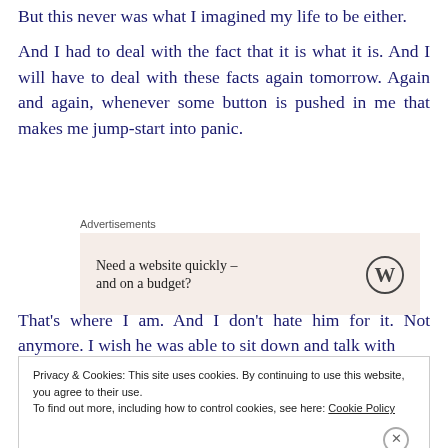But this never was what I imagined my life to be either.
And I had to deal with the fact that it is what it is. And I will have to deal with these facts again tomorrow. Again and again, whenever some button is pushed in me that makes me jump-start into panic.
[Figure (other): WordPress advertisement banner with text 'Need a website quickly – and on a budget?' and WordPress logo]
That’s where I am. And I don’t hate him for it. Not anymore. I wish he was able to sit down and talk with
Privacy & Cookies: This site uses cookies. By continuing to use this website, you agree to their use.
To find out more, including how to control cookies, see here: Cookie Policy